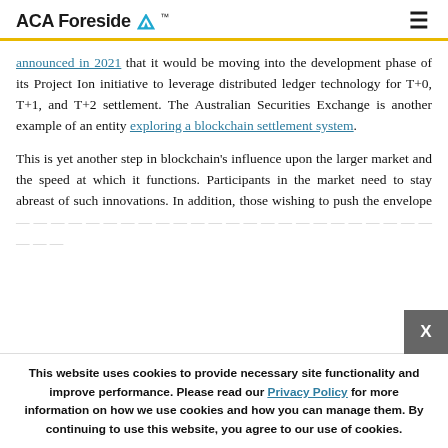ACA Foreside
announced in 2021 that it would be moving into the development phase of its Project Ion initiative to leverage distributed ledger technology for T+0, T+1, and T+2 settlement. The Australian Securities Exchange is another example of an entity exploring a blockchain settlement system.
This is yet another step in blockchain's influence upon the larger market and the speed at which it functions. Participants in the market need to stay abreast of such innovations. In addition, those wishing to push the envelope
This website uses cookies to provide necessary site functionality and improve performance. Please read our Privacy Policy for more information on how we use cookies and how you can manage them. By continuing to use this website, you agree to our use of cookies.